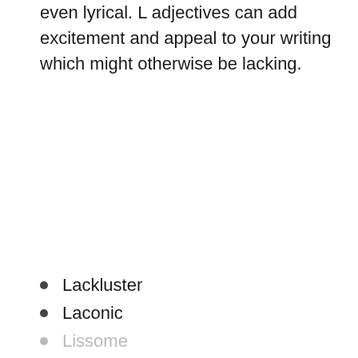even lyrical. L adjectives can add excitement and appeal to your writing which might otherwise be lacking.
Lackluster
Laconic
Lissome
Lithe